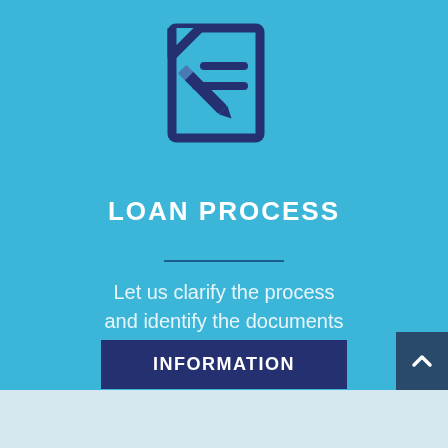[Figure (illustration): Document with pencil/editing icon in dark navy blue, shown on a light blue background]
LOAN PROCESS
Let us clarify the process and identify the documents you will need
INFORMATION